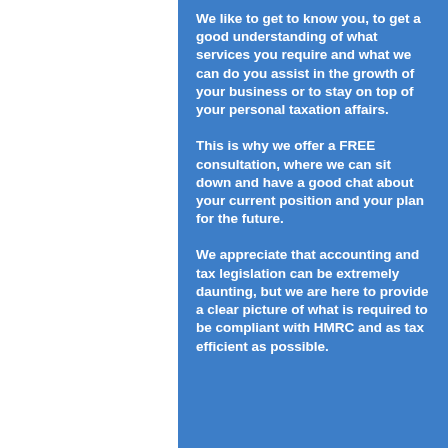We like to get to know you, to get a good understanding of what services you require and what we can do you assist in the growth of your business or to stay on top of your personal taxation affairs.
This is why we offer a FREE consultation, where we can sit down and have a good chat about your current position and your plan for the future.
We appreciate that accounting and tax legislation can be extremely daunting, but we are here to provide a clear picture of what is required to be compliant with HMRC and as tax efficient as possible.